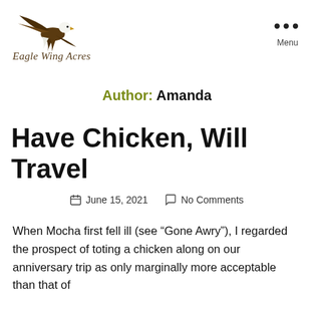[Figure (logo): Eagle Wing Acres logo with a bald eagle illustration and italic serif site name text below]
Author: Amanda
Have Chicken, Will Travel
June 15, 2021   No Comments
When Mocha first fell ill (see “Gone Awry”), I regarded the prospect of toting a chicken along on our anniversary trip as only marginally more acceptable than that of